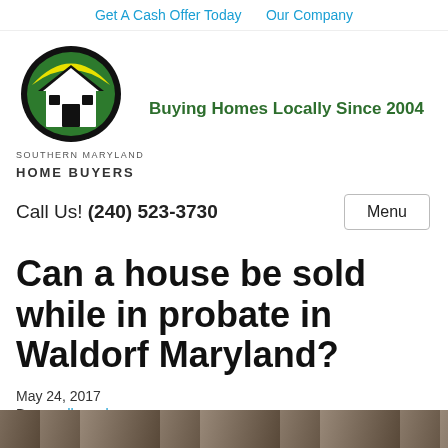Get A Cash Offer Today   Our Company
[Figure (logo): Southern Maryland Home Buyers logo: oval with house silhouette, black outline, green and yellow arc top]
Buying Homes Locally Since 2004
Call Us! (240) 523-3730
Menu
Can a house be sold while in probate in Waldorf Maryland?
May 24, 2017
By somdhomebuyers
[Figure (photo): Partial photo strip at bottom of page showing a house exterior, cut off]